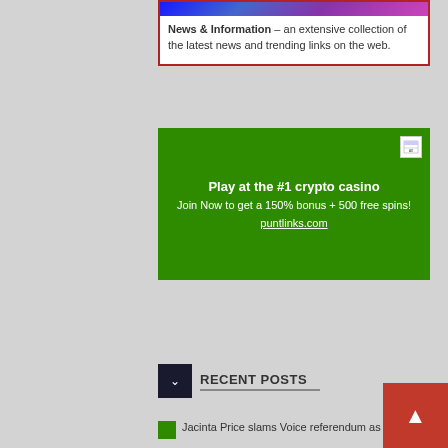News & Information – an extensive collection of the latest news and trending links on the web.
[Figure (infographic): Green advertisement box for a crypto casino. Text: Play at the #1 crypto casino. Join Now to get a 150% bonus + 500 free spins! puntlinks.com]
RECENT POSTS
Jacinta Price slams Voice referendum as